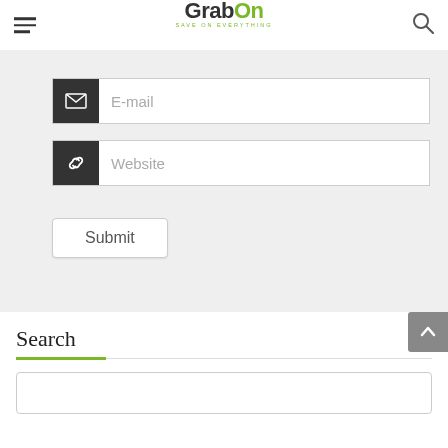GrabOn - SAVE ON EVERYTHING
[Figure (screenshot): Email input field with dark icon box containing envelope icon and placeholder text 'E-mail']
[Figure (screenshot): Website input field with dark icon box containing link/chain icon and placeholder text 'Website']
Submit
Search
[Figure (screenshot): Empty search input box]